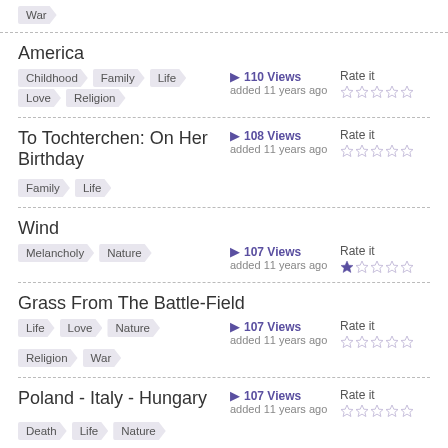War
America — Tags: Childhood, Family, Life, Love, Religion — 110 Views, added 11 years ago, Rate it
To Tochterchen: On Her Birthday — Tags: Family, Life — 108 Views, added 11 years ago, Rate it
Wind — Tags: Melancholy, Nature — 107 Views, added 11 years ago, Rate it (1 star)
Grass From The Battle-Field — Tags: Life, Love, Nature, Religion, War — 107 Views, added 11 years ago, Rate it
Poland - Italy - Hungary — Tags: Death, Life, Nature — 107 Views, added 11 years ago, Rate it